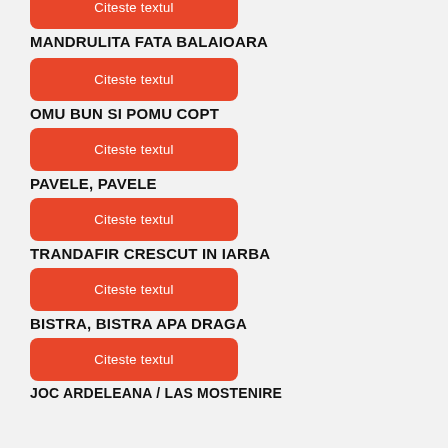[Figure (other): Orange button labeled 'Citeste textul' (partially visible at top)]
MANDRULITA FATA BALAIOARA
[Figure (other): Orange button labeled 'Citeste textul']
OMU BUN SI POMU COPT
[Figure (other): Orange button labeled 'Citeste textul']
PAVELE, PAVELE
[Figure (other): Orange button labeled 'Citeste textul']
TRANDAFIR CRESCUT IN IARBA
[Figure (other): Orange button labeled 'Citeste textul']
BISTRA, BISTRA APA DRAGA
[Figure (other): Orange button labeled 'Citeste textul']
JOC ARDELEANA / LAS MOSTENIRE